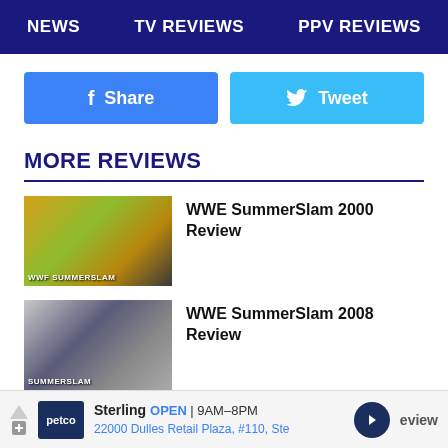NEWS | TV REVIEWS | PPV REVIEWS
[Figure (other): Facebook Share button]
[Figure (other): Twitter Tweet button]
MORE REVIEWS
WWE SummerSlam 2000 Review
WWE SummerSlam 2008 Review
[Figure (other): Petco advertisement: Sterling OPEN 9AM-8PM, 22000 Dulles Retail Plaza, #110, Ste]